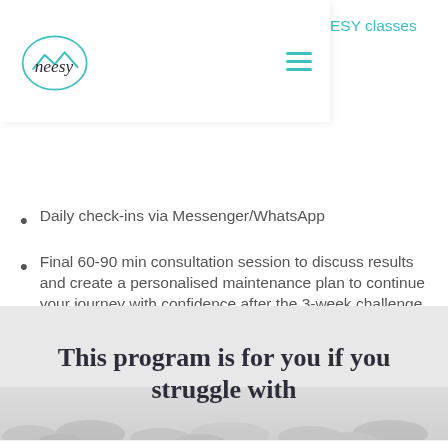[Figure (logo): Neesy logo with cursive text inside a hand-drawn circle with teal mountain/chevron accent]
Fitness classes for unlimited access to NEESY classes online or in Basel studio.
Daily check-ins via Messenger/WhatsApp
Final 60-90 min consultation session to discuss results and create a personalised maintenance plan to continue your journey with confidence after the 3-week challenge.
This program is for you if you struggle with
[Figure (photo): Blurred gray background image of what appears to be coffee beans or stones at the bottom of the banner section]
Contact icons: phone, email, Facebook, Instagram